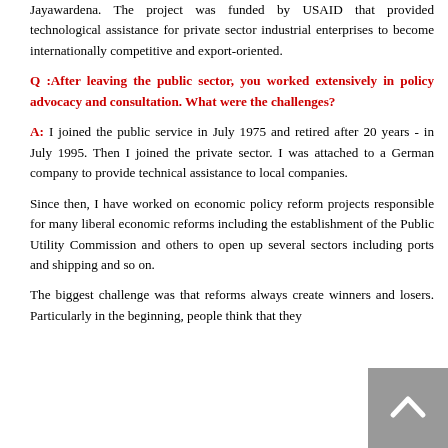Jayawardena. The project was funded by USAID that provided technological assistance for private sector industrial enterprises to become internationally competitive and export-oriented.
Q: After leaving the public sector, you worked extensively in policy advocacy and consultation. What were the challenges?
A: I joined the public service in July 1975 and retired after 20 years - in July 1995. Then I joined the private sector. I was attached to a German company to provide technical assistance to local companies.
Since then, I have worked on economic policy reform projects responsible for many liberal economic reforms including the establishment of the Public Utility Commission and others to open up several sectors including ports and shipping and so on.
The biggest challenge was that reforms always create winners and losers. Particularly in the beginning, people think that they